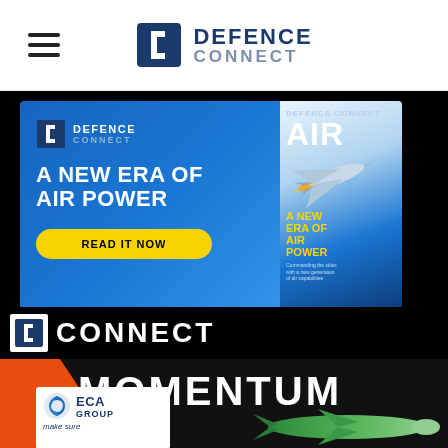[Figure (logo): Defence Connect logo with hamburger menu icon in page header]
[Figure (illustration): Defence Connect banner advertisement: 'A NEW ERA OF AIR POWER' with 'READ IT NOW' button and magazine cover showing fighter jet and AIR title]
[Figure (logo): Large C logo with CONNECT text on black background]
[Figure (illustration): Momentum ECA Group advertisement bottom section with orange shape, MOMENTUM text, ECA Group logo badge, and torpedo/drone image]